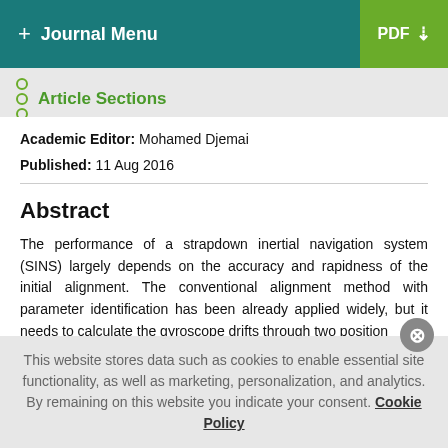+ Journal Menu | PDF
Article Sections
Academic Editor: Mohamed Djemai
Published: 11 Aug 2016
Abstract
The performance of a strapdown inertial navigation system (SINS) largely depends on the accuracy and rapidness of the initial alignment. The conventional alignment method with parameter identification has been already applied widely, but it needs to calculate the gyroscope drifts through two position
This website stores data such as cookies to enable essential site functionality, as well as marketing, personalization, and analytics. By remaining on this website you indicate your consent. Cookie Policy